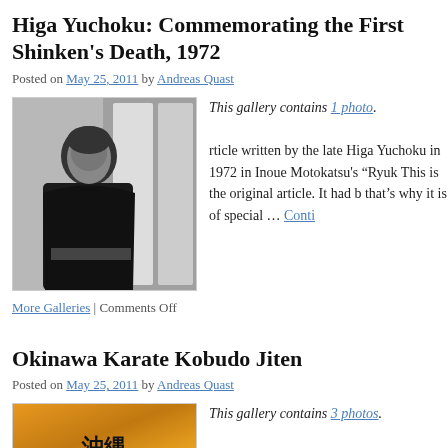Higa Yuchoku: Commemorating the First Shinken's Death, 1972
Posted on May 25, 2011 by Andreas Quast
[Figure (photo): Black and white photo of Higa Yuchoku in traditional martial arts attire, standing in front of Japanese calligraphy signage]
This gallery contains 1 photo.

rticle written by the late Higa Yuchoku in 1972 in Inoue Motokatsu's "Ryuk... This is the original article. It had b... that's why it is of special … Conti...
More Galleries | Comments Off
Okinawa Karate Kobudo Jiten
Posted on May 25, 2011 by Andreas Quast
[Figure (photo): Color book cover photo with orange/golden background and Japanese text reading 沖縄]
This gallery contains 3 photos.